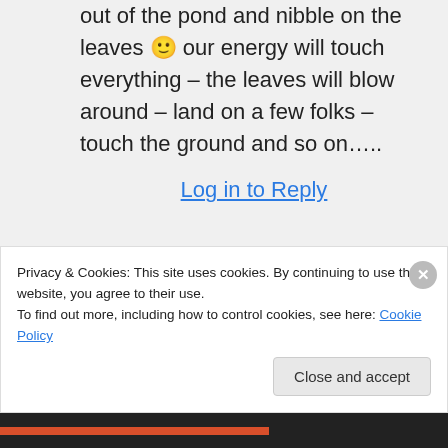utter that will draw out of the pond and nibble on the leaves 🙂 our energy will touch everything – the leaves will blow around – land on a few folks – touch the ground and so on…..
Log in to Reply
Privacy & Cookies: This site uses cookies. By continuing to use this website, you agree to their use. To find out more, including how to control cookies, see here: Cookie Policy